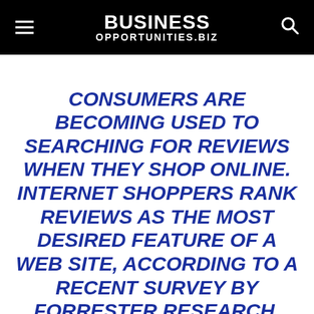BUSINESS OPPORTUNITIES.BIZ
CONSUMERS ARE BECOMING USED TO SEARCHING FOR REVIEWS WHEN THEY SHOP ONLINE. INTERNET SHOPPERS RANK REVIEWS AS THE MOST DESIRED FEATURE OF A WEB SITE, ACCORDING TO A RECENT SURVEY BY FORRESTER RESEARCH. “PEOPLE WANT TO TALK AMONG THEMSELVES,” SAYS JACQUELINE ANDERSON, A SENIOR CONSULTANT AT FORRESTER.